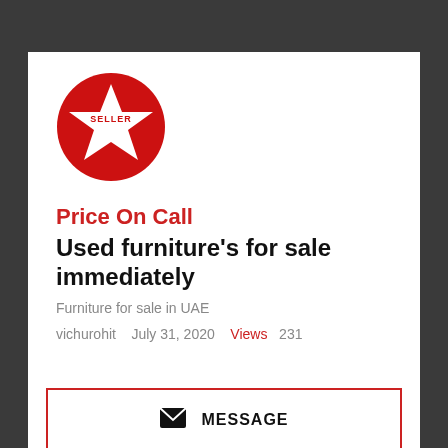[Figure (logo): Red circular seller badge with a white star and 'SELLER' text in red on the star]
Price On Call
Used furniture's for sale immediately
Furniture for sale in UAE
vichurohit   July 31, 2020   Views   231
MESSAGE
CLICK TO VIEW